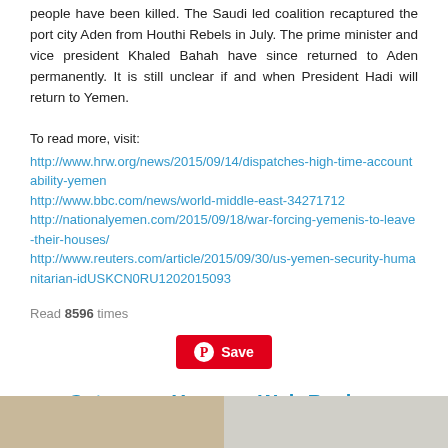people have been killed. The Saudi led coalition recaptured the port city Aden from Houthi Rebels in July. The prime minister and vice president Khaled Bahah have since returned to Aden permanently. It is still unclear if and when President Hadi will return to Yemen.
To read more, visit:
http://www.hrw.org/news/2015/09/14/dispatches-high-time-accountability-yemen
http://www.bbc.com/news/world-middle-east-34271712
http://nationalyemen.com/2015/09/18/war-forcing-yemenis-to-leave-their-houses/
http://www.reuters.com/article/2015/09/30/us-yemen-security-humanitarian-idUSKCN0RU1202015093
Read 8596 times
[Figure (other): Pinterest Save button]
Category:  Yemen - Web Review
[Figure (photo): Two thumbnail images at the bottom of the page]